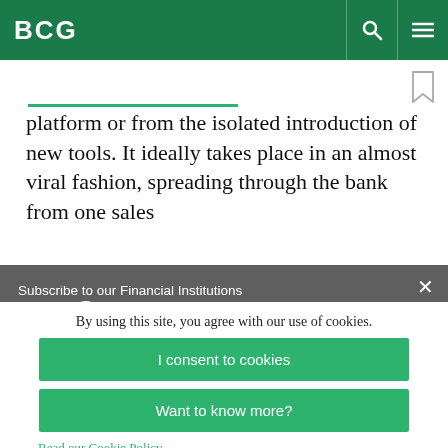BCG
platform or from the isolated introduction of new tools. It ideally takes place in an almost viral fashion, spreading through the bank from one sales
Subscribe to our Financial Institutions E-Alert .
protected by reCaptcha
By using this site, you agree with our use of cookies.
I consent to cookies
Want to know more?
Read our Cookie Policy